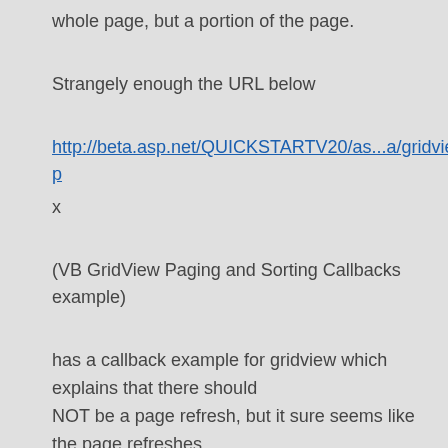whole page, but a portion of the page.
Strangely enough the URL below
http://beta.asp.net/QUICKSTARTV20/as...a/gridview.asp
x
(VB GridView Paging and Sorting Callbacks example)
has a callback example for gridview which explains that there should NOT be a page refresh, but it sure seems like the page refreshes (flickers) when I run the example.
Also another example I found on the web on msdn